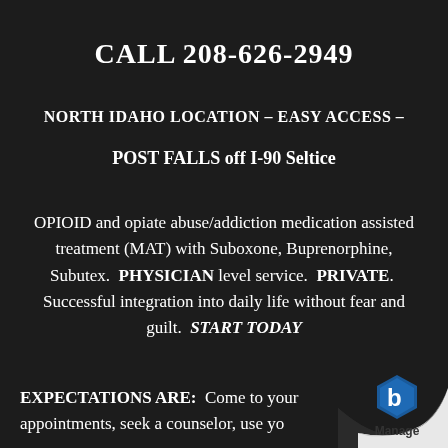CALL 208-626-2949
NORTH IDAHO LOCATION – EASY ACCESS –
POST FALLS off I-90 Seltice
OPIOID and opiate abuse/addiction medication assisted treatment (MAT) with Suboxone, Buprenorphine, Subutex. PHYSICIAN level service. PRIVATE. Successful integration into daily life without fear and guilt. START TODAY
EXPECTATIONS ARE: Come to your appointments, seek a counselor, use yo...
[Figure (logo): Page curl effect in bottom-right corner with a blue hexagonal 'b' logo and the word 'Manage' below it]